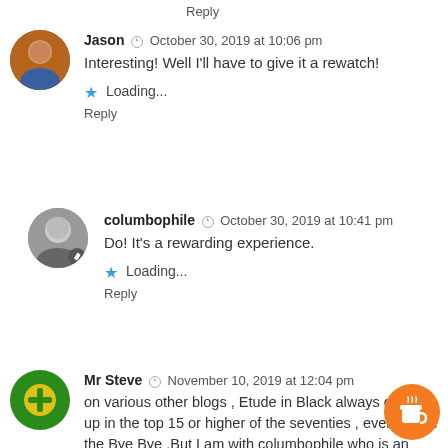Reply
Jason  October 30, 2019 at 10:06 pm
Interesting! Well I'll have to give it a rewatch!
★ Loading...
Reply
columbophile  October 30, 2019 at 10:41 pm
Do! It's a rewarding experience.
★ Loading...
Reply
Mr Steve  November 10, 2019 at 12:04 pm
on various other blogs , Etude in Black always comes up in the top 15 or higher of the seventies , even above the Bye Bye ,But I am with columbophile who is an expert and of the opinion that despite being a classic etude in black is a tad overrated , Etude dosent scratch my own top 10 and for me Identity crisis is a little underrated , I alw it despite not having the best gotcha , By dawns is excellent but too drawn out and i Have never been a big